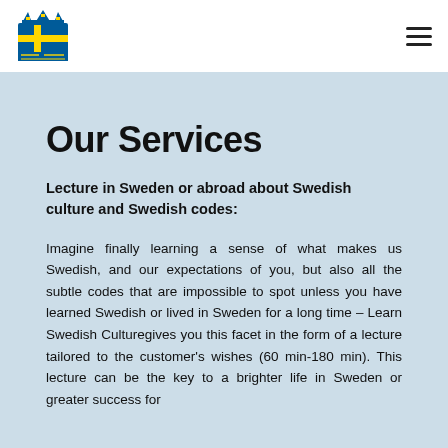[Figure (logo): Learn Swedish Culture logo — stylized crown/book shape with Swedish flag colors (yellow cross on blue), text 'Learn Swedish Culture']
Our Services
Lecture in Sweden or abroad about Swedish culture and Swedish codes:
Imagine finally learning a sense of what makes us Swedish, and our expectations of you, but also all the subtle codes that are impossible to spot unless you have learned Swedish or lived in Sweden for a long time – Learn Swedish Culturegives you this facet in the form of a lecture tailored to the customer's wishes (60 min-180 min). This lecture can be the key to a brighter life in Sweden or greater success for